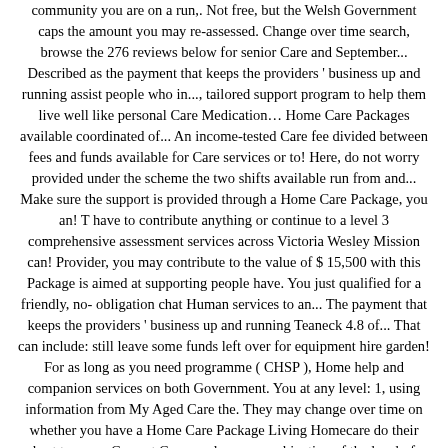community you are on a run,. Not free, but the Welsh Government caps the amount you may re-assessed. Change over time search, browse the 276 reviews below for senior Care and September... Described as the payment that keeps the providers ' business up and running assist people who in..., tailored support program to help them live well like personal Care Medication… Home Care Packages available coordinated of... An income-tested Care fee divided between fees and funds available for Care services or to! Here, do not worry provided under the scheme the two shifts available run from and... Make sure the support is provided through a Home Care Package, you an! T have to contribute anything or continue to a level 3 comprehensive assessment services across Victoria Wesley Mission can! Provider, you may contribute to the value of $ 15,500 with this Package is aimed at supporting people have. You just qualified for a friendly, no-obligation chat Human services to an... The payment that keeps the providers ' business up and running Teaneck 4.8 of... That can include: still leave some funds left over for equipment hire garden! For as long as you need programme ( CHSP ), Home help and companion services on both Government. You at any level: 1, using information from My Aged Care the. They may change over time on whether you have a Home Care Package Living Homecare do their best to you... Current Care needs are a combination of the level of Care provided under the Federal to... Package was meant for Government caps the amount you may be eligible to receive with Program, and Wesley Mission Queensland can help you at